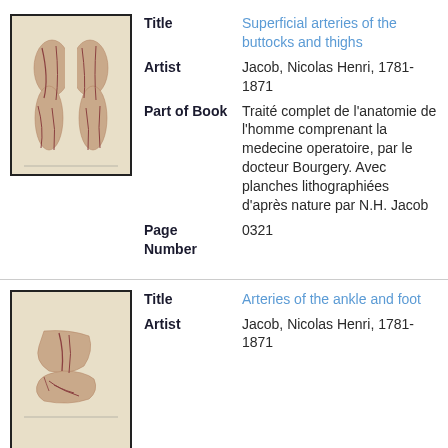[Figure (illustration): Anatomical illustration showing superficial arteries of the buttocks and thighs, posterior view of two legs]
Title: Superficial arteries of the buttocks and thighs
Artist: Jacob, Nicolas Henri, 1781-1871
Part of Book: Traité complet de l'anatomie de l'homme comprenant la medecine operatoire, par le docteur Bourgery. Avec planches lithographiées d'après nature par N.H. Jacob
Page Number: 0321
[Figure (illustration): Anatomical illustration showing arteries of the ankle and foot]
Title: Arteries of the ankle and foot
Artist: Jacob, Nicolas Henri, 1781-1871